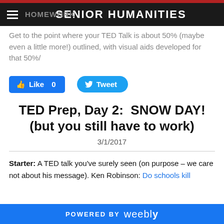SENIOR HUMANITIES
Get to the point where your TED Talk is about 50% (maybe even a little more!) outlined, with visual aids developed for that 50%/
[Figure (screenshot): Facebook Like button (Like 0) and Twitter Tweet button]
TED Prep, Day 2:  SNOW DAY! (but you still have to work)
3/1/2017
Starter: A TED talk you've surely seen (on purpose – we care not about his message). Ken Robinson: Do schools kill
POWERED BY weebly